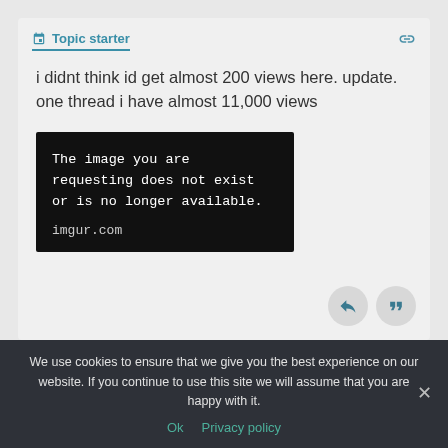Topic starter
i didnt think id get almost 200 views here. update. one thread i have almost 11,000 views
[Figure (screenshot): Broken image placeholder with black background showing text: 'The image you are requesting does not exist or is no longer available.' with 'imgur.com' source label]
Posted : October 20, 2018 6:03 PM
We use cookies to ensure that we give you the best experience on our website. If you continue to use this site we will assume that you are happy with it.
Ok  Privacy policy